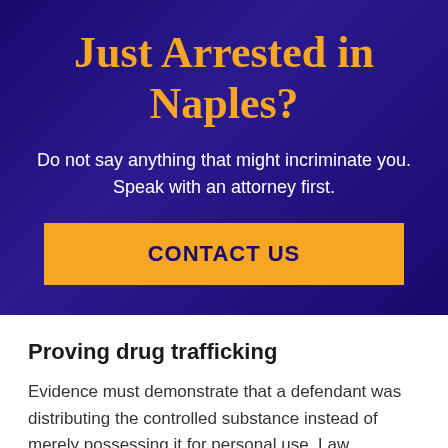Just Arrested in Naples?
Do not say anything that might incriminate you. Speak with an attorney first.
CONTACT US
Proving drug trafficking
Evidence must demonstrate that a defendant was distributing the controlled substance instead of merely possessing it for personal use. Law enforcement officers typically seize all materials and cash in a person's presence during an arrest. Items that may support charges